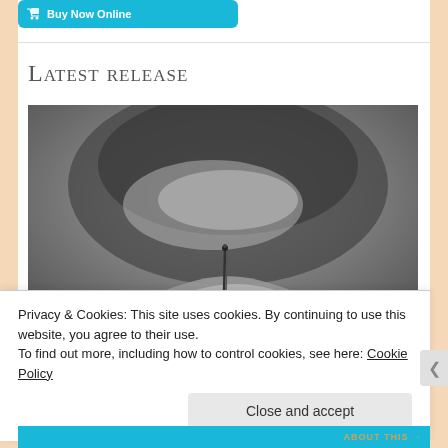[Figure (other): Cyan/teal 'Buy Now' button with shopping cart icon at top]
Latest release
[Figure (photo): Black and white close-up photograph of a hand holding what appears to be a needle or pin against a dark blurred background]
Privacy & Cookies: This site uses cookies. By continuing to use this website, you agree to their use.
To find out more, including how to control cookies, see here: Cookie Policy
Close and accept